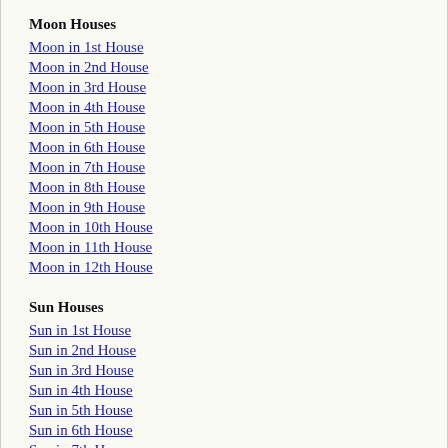Moon Houses
Moon in 1st House
Moon in 2nd House
Moon in 3rd House
Moon in 4th House
Moon in 5th House
Moon in 6th House
Moon in 7th House
Moon in 8th House
Moon in 9th House
Moon in 10th House
Moon in 11th House
Moon in 12th House
Sun Houses
Sun in 1st House
Sun in 2nd House
Sun in 3rd House
Sun in 4th House
Sun in 5th House
Sun in 6th House
Sun in 7th House
Sun in 8th House
Sun in 9th House
Sun in 10th House